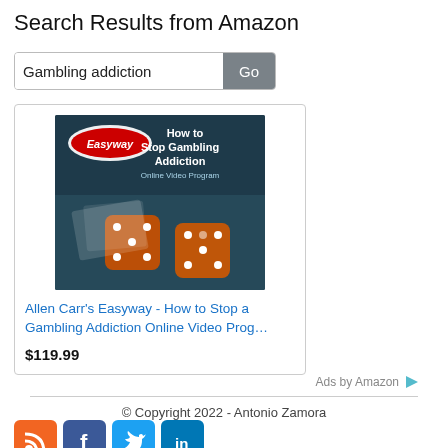Search Results from Amazon
[Figure (screenshot): Search bar with text 'Gambling addiction' and a 'Go' button]
[Figure (photo): Product card: Allen Carr's Easyway - How to Stop a Gambling Addiction Online Video Program cover image with dice and playing cards]
Allen Carr's Easyway - How to Stop a Gambling Addiction Online Video Prog…
$119.99
Ads by Amazon
© Copyright 2022 - Antonio Zamora
[Figure (other): Social media icons: RSS (orange), Facebook (blue), Twitter (light blue), LinkedIn (blue)]